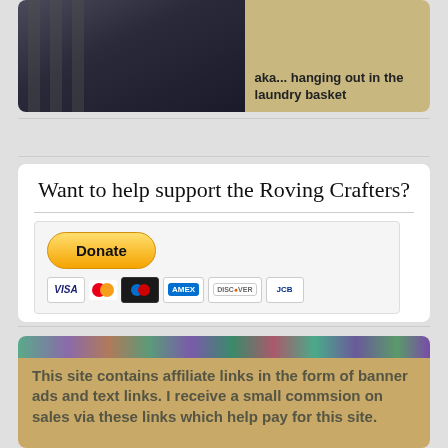[Figure (photo): Dark photo (candles or piano keys) with tan/beige area on right showing text 'aka... hanging out in the laundry basket' in bold]
aka... hanging out in the laundry basket
Want to help support the Roving Crafters?
[Figure (other): PayPal Donate button with payment icons: VISA, Mastercard, Maestro, American Express, Discover, JCB]
[Figure (other): Affiliate disclosure banner with colorful yarn/fiber image top band and text on tan background reading: This site contains affiliate links in the form of banner ads and text links. I receive a small commsion on sales via these links which help pay for this site.]